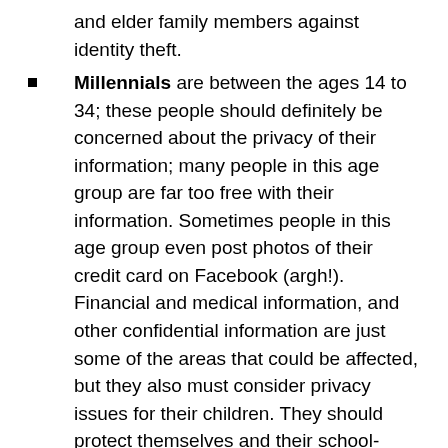and elder family members against identity theft.
Millennials are between the ages 14 to 34; these people should definitely be concerned about the privacy of their information; many people in this age group are far too free with their information. Sometimes people in this age group even post photos of their credit card on Facebook (argh!). Financial and medical information, and other confidential information are just some of the areas that could be affected, but they also must consider privacy issues for their children. They should protect themselves and their school-aged children against identity theft.
Generation Z (also known as the iGeneration) are children between the ages one to 13. Children have to depend on the ability of other people to protect their information. For instance, some parents do not